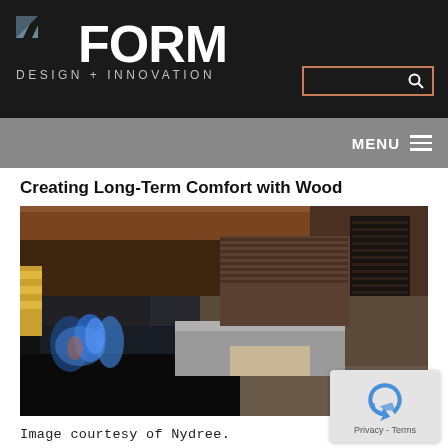INFORM DESIGN + INNOVATION
Creating Long-Term Comfort with Wood
[Figure (photo): Interior design photo showing a modern lounge area with a fireplace featuring blue flames, glass enclosure, grey sofas, wooden ceiling and wall elements, and stacked dark wood sculptures]
Image courtesy of Nydree.